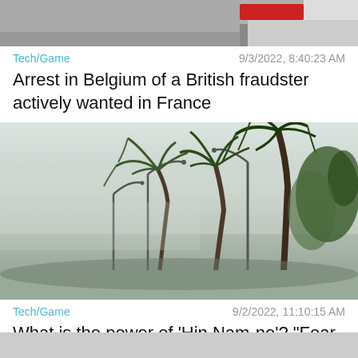[Figure (photo): Top portion of a photo partially cut off at top, showing a vehicle (ambulance or police car) with red/white colors]
Tech/Game
9/3/2022, 8:40:23 AM
Arrest in Belgium of a British fraudster actively wanted in France
[Figure (photo): Storm scene with palm trees bending in strong winds along a misty road with street lamps]
Tech/Game
9/2/2022, 11:10:15 AM
What is the power of 'Hin Nam-no'? "Fear of unexpected damage"
[Figure (photo): Bottom image partially visible, gray/light colored, cut off at page bottom]